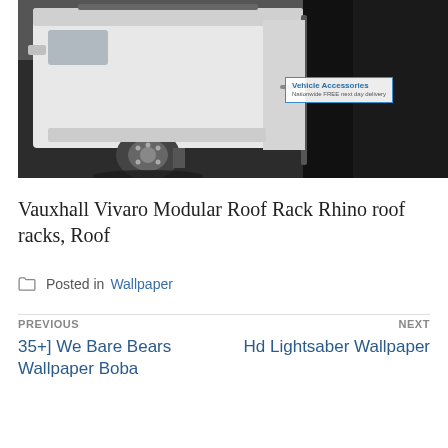[Figure (photo): White van (Vauxhall Vivaro) rear view with open doors, showing roof rack and vehicle accessories badge overlay, parked in a dark area]
Vauxhall Vivaro Modular Roof Rack Rhino roof racks, Roof
Posted in Wallpaper
PREVIOUS
35+] We Bare Bears Wallpaper Boba
NEXT
Hd Lightsaber Wallpaper